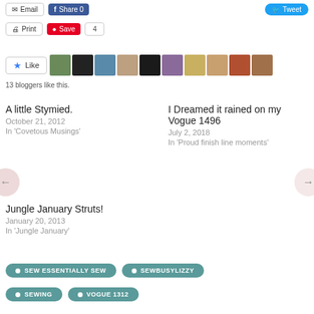[Figure (screenshot): Social sharing buttons: Email, Share 0 (Facebook), Tweet]
[Figure (screenshot): Print, Save (Pinterest), count 4 buttons]
[Figure (screenshot): Like button with star and 10 blogger avatars]
13 bloggers like this.
A little Stymied.
October 21, 2012
In 'Covetous Musings'
I Dreamed it rained on my Vogue 1496
July 2, 2018
In 'Proud finish line moments'
Jungle January Struts!
January 20, 2013
In 'Jungle January'
SEW ESSENTIALLY SEW
SEWBUSYLIZZY
SEWING
VOGUE 1312